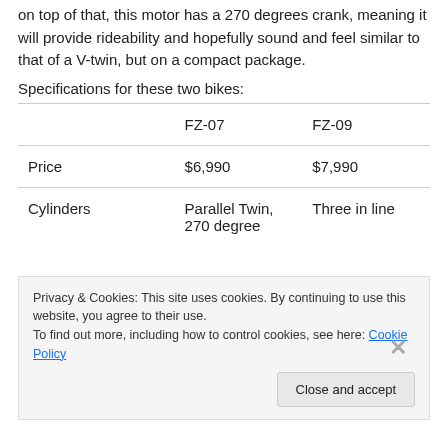on top of that, this motor has a 270 degrees crank, meaning it will provide rideability and hopefully sound and feel similar to that of a V-twin, but on a compact package.
Specifications for these two bikes:
|  | FZ-07 | FZ-09 |
| --- | --- | --- |
| Price | $6,990 | $7,990 |
| Cylinders | Parallel Twin, 270 degree | Three in line |
Privacy & Cookies: This site uses cookies. By continuing to use this website, you agree to their use.
To find out more, including how to control cookies, see here: Cookie Policy